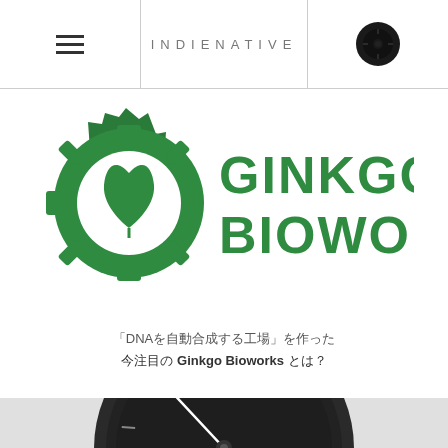INDIENATIVE
[Figure (logo): Ginkgo Bioworks logo — green gear with ginkgo leaf, text GINKGO BIOWORKS in green]
「DNAを自動合成する工場」を作った　今注目の Ginkgo Bioworks とは？
[Figure (photo): A dark speedometer / gauge instrument on a light grey background, needle pointing to lower left]